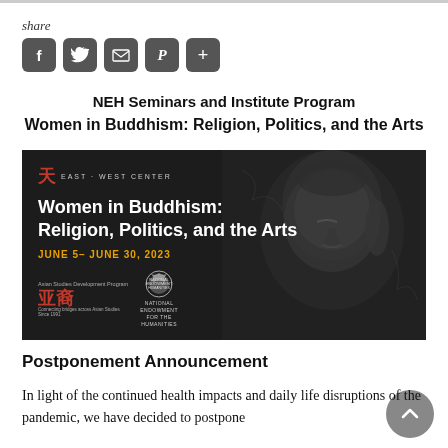share
[Figure (other): Social sharing buttons: Facebook, Twitter, email, Pinterest, plus]
NEH Seminars and Institute Program
Women in Buddhism: Religion, Politics, and the Arts
[Figure (illustration): Banner image for Women in Buddhism: Religion, Politics, and the Arts event. Dark background with Buddha statue. East-West Center logo top left. White text: Women in Buddhism: Religion, Politics, and the Arts. Orange text: JUNE 5– JUNE 30, 2023. Asian Studies Development Program and National Endowment for the Humanities logos at bottom.]
Postponement Announcement
In light of the continued health impacts and daily life disruptions of the pandemic, we have decided to postpone our summer institute on Women in Buddhism: